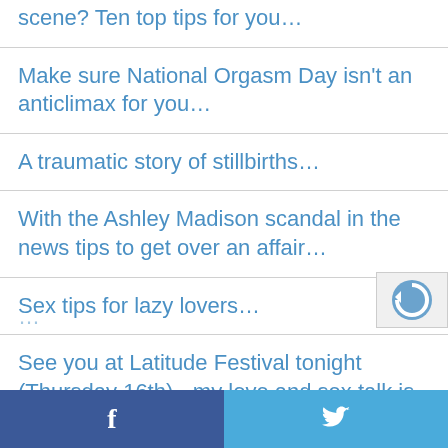scene? Ten top tips for you…
Make sure National Orgasm Day isn't an anticlimax for you…
A traumatic story of stillbirths…
With the Ashley Madison scandal in the news tips to get over an affair…
Sex tips for lazy lovers…
See you at Latitude Festival tonight (Thursday 16th) - my love and sex talk is at 9:25 PM…
Facebook | Twitter